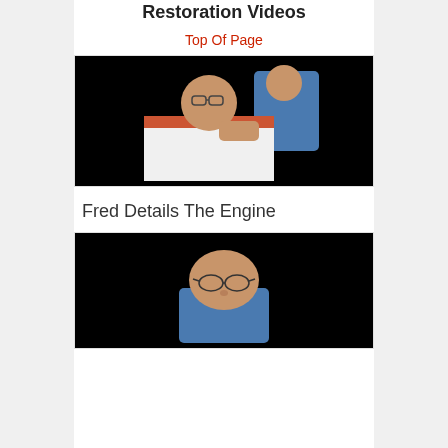Restoration Videos
Top Of Page
[Figure (photo): Video thumbnail showing an older man with glasses wearing a white shirt with orange collar, leaning into an engine area]
Fred Details The Engine
[Figure (photo): Video thumbnail showing an older man with glasses wearing a blue shirt, closely examining a chrome engine component]